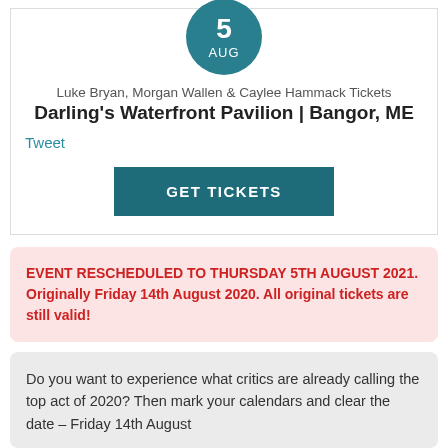[Figure (other): Teal circle badge showing date: 5 AUG]
Luke Bryan, Morgan Wallen & Caylee Hammack Tickets
Darling's Waterfront Pavilion | Bangor, ME
Tweet
GET TICKETS
EVENT RESCHEDULED TO THURSDAY 5TH AUGUST 2021. Originally Friday 14th August 2020. All original tickets are still valid!
Do you want to experience what critics are already calling the top act of 2020? Then mark your calendars and clear the date – Friday 14th August